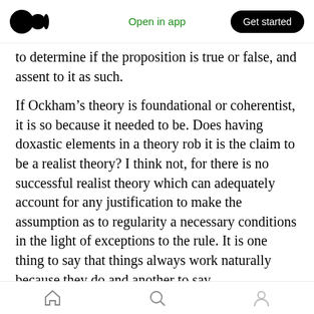Open in app | Get started
to determine if the proposition is true or false, and assent to it as such.
If Ockham’s theory is foundational or coherentist, it is so because it needed to be. Does having doxastic elements in a theory rob it is the claim to be a realist theory? I think not, for there is no successful realist theory which can adequately account for any justification to make the assumption as to regularity a necessary conditions in the light of exceptions to the rule. It is one thing to say that things always work naturally because they do and another to say,
Home | Search | Profile